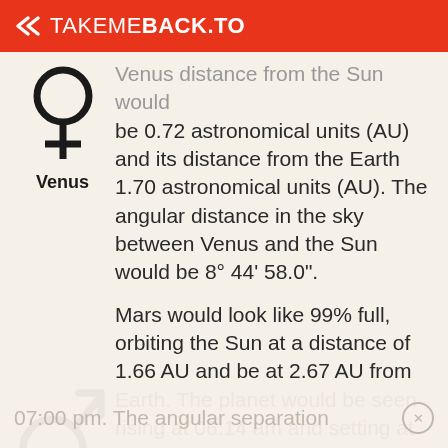TAKEMEBACK.TO
Venus distance from the Sun would be 0.72 astronomical units (AU) and its distance from the Earth 1.70 astronomical units (AU). The angular distance in the sky between Venus and the Sun would be 8° 44' 58.0".
Mars would look like 99% full, orbiting the Sun at a distance of 1.66 AU and be at 2.67 AU from Earth. The planet would be seen rising at 06:14 am and setting at 07:00 pm. The angular separation of the Sun with the...